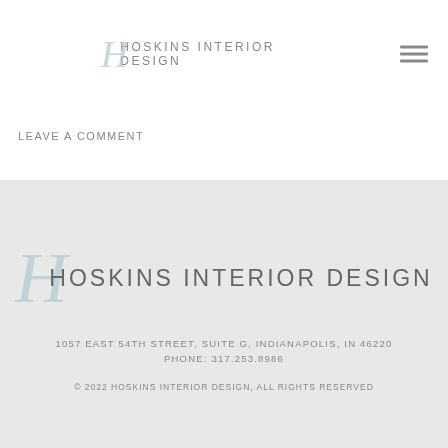HOSKINS INTERIOR DESIGN
LEAVE A COMMENT
HOSKINS INTERIOR DESIGN
1057 EAST 54TH STREET, SUITE G, INDIANAPOLIS, IN 46220
PHONE: 317.253.8986
© 2022 HOSKINS INTERIOR DESIGN, ALL RIGHTS RESERVED